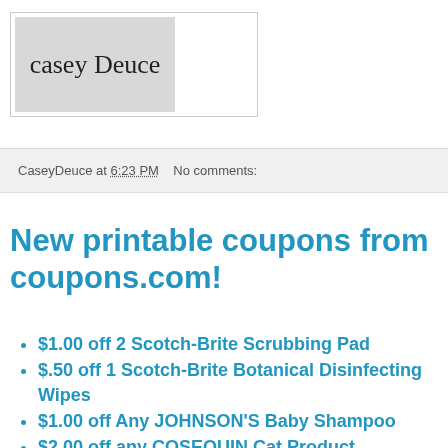[Figure (logo): Casey Deuce handwritten logo with grey background]
CaseyDeuce at 6:23 PM   No comments:
New printable coupons from coupons.com!
$1.00 off 2 Scotch-Brite Scrubbing Pad
$.50 off 1 Scotch-Brite Botanical Disinfecting Wipes
$1.00 off Any JOHNSON'S Baby Shampoo
$2.00 off any COSEQUIN Cat Product
$4.00 off Cosamin ASU Joint Health Supplement